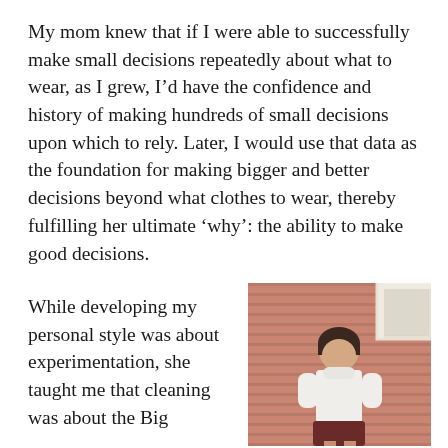My mom knew that if I were able to successfully make small decisions repeatedly about what to wear, as I grew, I’d have the confidence and history of making hundreds of small decisions upon which to rely. Later, I would use that data as the foundation for making bigger and better decisions beyond what clothes to wear, thereby fulfilling her ultimate ‘why’: the ability to make good decisions.
While developing my personal style was about experimentation, she taught me that cleaning was about the Big
[Figure (photo): Vintage photograph of a young girl with short dark hair wearing a white turtleneck sweater, standing in front of a pink/salmon-colored horizontal siding wall with a white window frame visible in the upper right corner.]